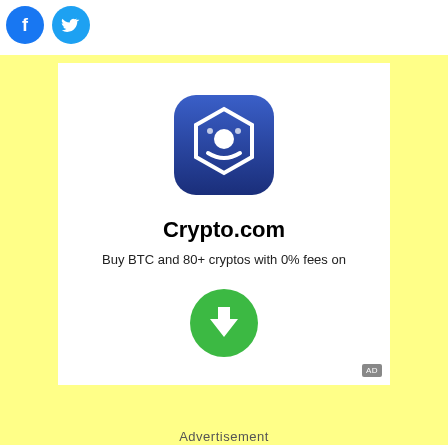[Figure (logo): Facebook circular blue logo icon]
[Figure (logo): Twitter circular blue logo icon]
[Figure (illustration): Advertisement banner for Crypto.com app with app icon, title, description, and download button on yellow background]
Advertisement